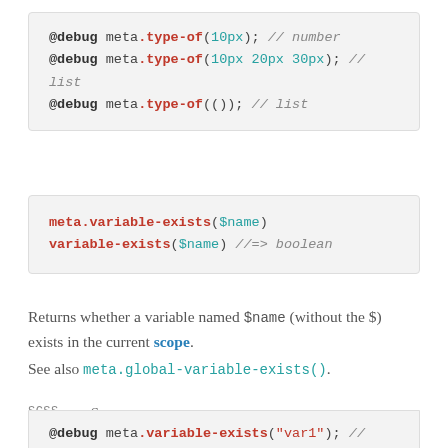[Figure (screenshot): Code block showing @debug meta.type-of(10px); // number, @debug meta.type-of(10px 20px 30px); // list, @debug meta.type-of(()); // list]
[Figure (screenshot): Code block showing meta.variable-exists($name) and variable-exists($name) //=> boolean]
Returns whether a variable named $name (without the $) exists in the current scope.
See also meta.global-variable-exists().
SCSS    Sass
[Figure (screenshot): Code block showing @debug meta.variable-exists("var1"); // false]